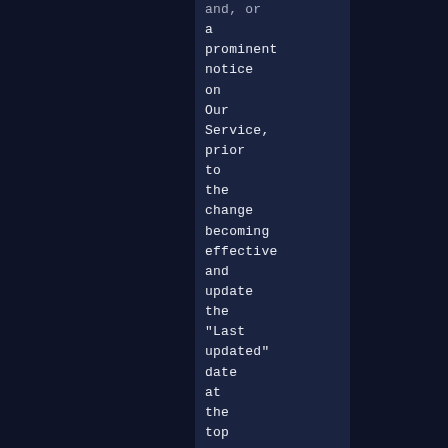and, or a prominent notice on Our Service, prior to the change becoming effective and update the "Last updated" date at the top